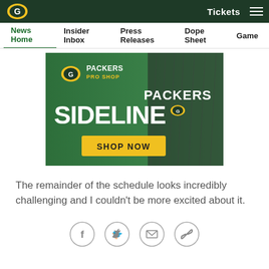Green Bay Packers - Tickets navigation header
News Home | Insider Inbox | Press Releases | Dope Sheet | Game
[Figure (illustration): Green Bay Packers Pro Shop advertisement banner featuring 'SIDELINE' text in large white bold font, Packers G logo, 'PACKERS PRO SHOP' text in yellow, a dark heathered Packers t-shirt, and a yellow 'SHOP NOW' button on a green background.]
The remainder of the schedule looks incredibly challenging and I couldn't be more excited about it.
[Figure (infographic): Social sharing icons: Facebook (f), Twitter (bird), Email (envelope), and copy/link icon, each in a light gray circle outline.]